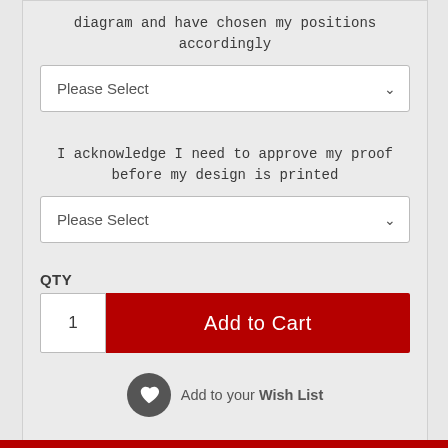diagram and have chosen my positions accordingly
Please Select
I acknowledge I need to approve my proof before my design is printed
Please Select
QTY
1
Add to Cart
Add to your Wish List